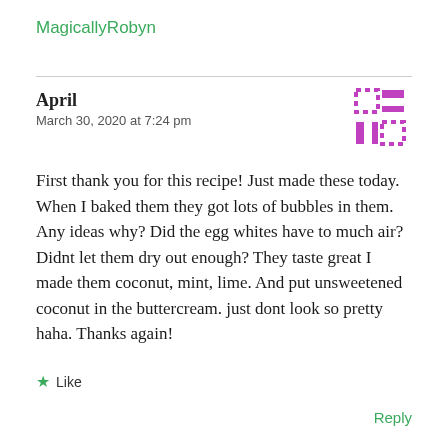MagicallyRobyn
April
March 30, 2020 at 7:24 pm
First thank you for this recipe! Just made these today. When I baked them they got lots of bubbles in them. Any ideas why? Did the egg whites have to much air? Didnt let them dry out enough? They taste great I made them coconut, mint, lime. And put unsweetened coconut in the buttercream. just dont look so pretty haha. Thanks again!
★ Like
Reply